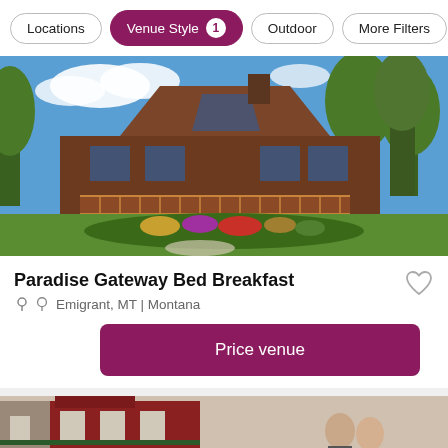Locations | Venue Style 1 | Outdoor | More Filters
[Figure (photo): Exterior of Paradise Gateway Bed Breakfast — large wooden lodge with deck surrounded by gardens and trees under blue sky]
Paradise Gateway Bed Breakfast
Emigrant, MT | Montana
Price venue
[Figure (photo): Partial view of a red barn building with a couple in the foreground, second venue listing]